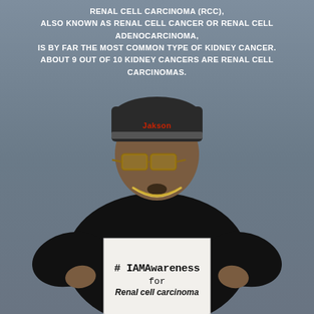RENAL CELL CARCINOMA (RCC), ALSO KNOWN AS RENAL CELL CANCER OR RENAL CELL ADENOCARCINOMA, IS BY FAR THE MOST COMMON TYPE OF KIDNEY CANCER. ABOUT 9 OUT OF 10 KIDNEY CANCERS ARE RENAL CELL CARCINOMAS.
[Figure (photo): A man wearing a black beanie hat, large glasses, black long-sleeve shirt, and a gold chain necklace, holding a white sign that reads '#IAMAwareness FOR Renal cell carcinoma'. The background is a muted blue-grey.]
# IAMAwareness
for
Renal cell carcinoma